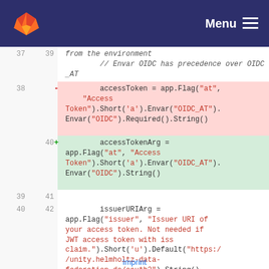[Figure (screenshot): GitLab navigation header bar with fox logo and Menu hamburger button on dark blue background]
37  39    // Envar OIDC has precedence over OIDC_AT (context line, italic comment)
38   -  accessToken = app.Flag("at", "Access Token").Short('a').Envar("OIDC_AT").Envar("OIDC").Required().String() (deleted line)
40  +  accessTokenArg = app.Flag("at", "Access Token").Short('a').Envar("OIDC_AT").Envar("OIDC").String() (added line)
39  41   (blank)
40  42   issuerURIArg = app.Flag("issuer", "Issuer URI of your access token. Not needed if JWT access token with iss claim.").Short('u').Default("https://unity.helmholtz-data-federation.de/oauth2").String()
Imprint